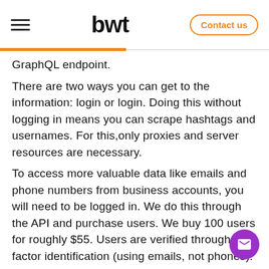bwt — Contact us
GraphQL endpoint.
There are two ways you can get to the information: login or login. Doing this without logging in means you can scrape hashtags and usernames. For this,only proxies and server resources are necessary.
To access more valuable data like emails and phone numbers from business accounts, you will need to be logged in. We do this through the API and purchase users. We buy 100 users for roughly $55. Users are verified through two-factor identification (using emails, not phones).
You would need a simple admin panel to organise the process, where you can insert either usernames or hashtags. We built ours using Laravel.